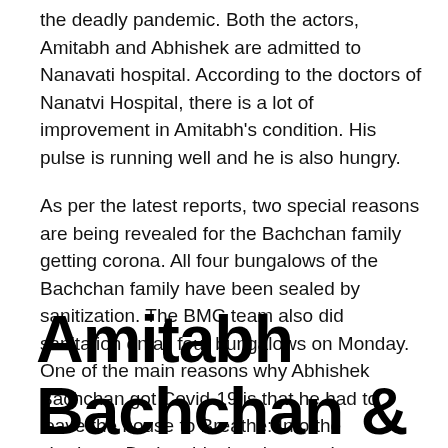the deadly pandemic. Both the actors, Amitabh and Abhishek are admitted to Nanavati hospital. According to the doctors of Nanatvi Hospital, there is a lot of improvement in Amitabh's condition. His pulse is running well and he is also hungry.
As per the latest reports, two special reasons are being revealed for the Bachchan family getting corona. All four bungalows of the Bachchan family have been sealed by sanitization. The BMC team also did sanitation on all four bungalows on Monday. One of the main reasons why Abhishek Bachchan got Covid-19 is that he had to leave the house to Breathe: Into the shadows. During this time he may have got a coronavirus.
Amitabh Bachchan &